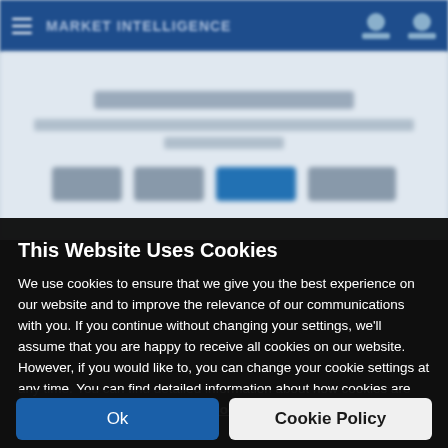[Figure (screenshot): Blurred website screenshot showing a navigation bar with blue background and partially visible webpage content beneath a cookie consent modal]
This Website Uses Cookies
We use cookies to ensure that we give you the best experience on our website and to improve the relevance of our communications with you. If you continue without changing your settings, we'll assume that you are happy to receive all cookies on our website. However, if you would like to, you can change your cookie settings at any time. You can find detailed information about how cookies are used on this website by clicking Cookie Policy.
Ok
Cookie Policy